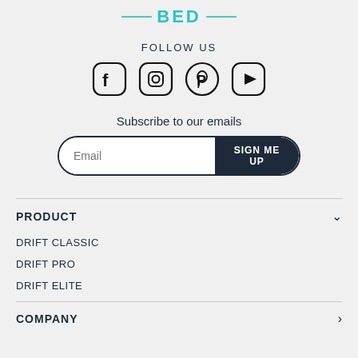[Figure (logo): BED brand logo with teal text and horizontal lines on each side]
FOLLOW US
[Figure (infographic): Four social media icons: Facebook, Instagram, Pinterest, YouTube]
Subscribe to our emails
[Figure (infographic): Email input field with SIGN ME UP button]
PRODUCT
DRIFT CLASSIC
DRIFT PRO
DRIFT ELITE
COMPANY